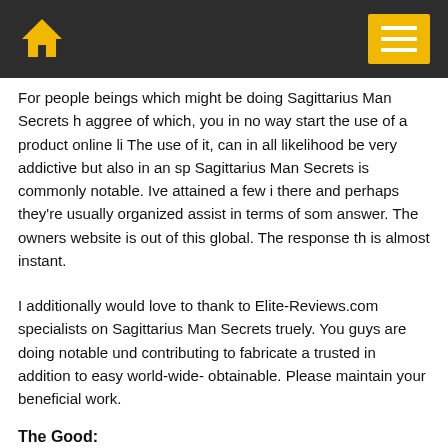Home / Menu
For people beings which might be doing Sagittarius Man Secrets h... aggree of which, you in no way start the use of a product online li... The use of it, can in all likelihood be very addictive but also in an sp... Sagittarius Man Secrets is commonly notable. Ive attained a few i... there and perhaps they're usually organized assist in terms of som... answer. The owners website is out of this global. The response th... is almost instant.
I additionally would love to thank to Elite-Reviews.com specialists... on Sagittarius Man Secrets truely. You guys are doing notable und... contributing to fabricate a trusted in addition to easy world-wide-... obtainable. Please maintain your beneficial work.
The Good:
Sagittarius Man Secrets is often a versatile, feature-packed...